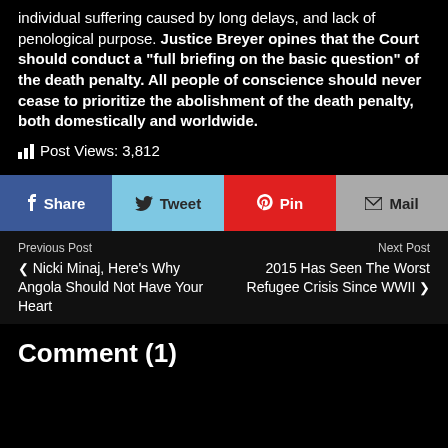individual suffering caused by long delays, and lack of penological purpose. Justice Breyer opines that the Court should conduct a "full briefing on the basic question" of the death penalty. All people of conscience should never cease to prioritize the abolishment of the death penalty, both domestically and worldwide.
Post Views: 3,812
Share | Tweet | Pin | Mail
Previous Post
❮ Nicki Minaj, Here's Why Angola Should Not Have Your Heart
Next Post
2015 Has Seen The Worst Refugee Crisis Since WWII ❯
Comment (1)